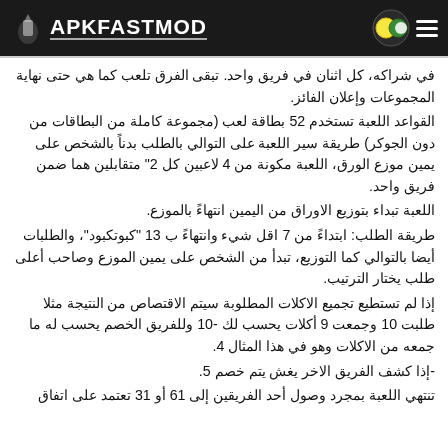APKFASTMOD
في شراكه، كل اثنان في فريق واحد. تبقى الفرق تلعب كما هي حتى نهاية المجموعات وإعلان الفائز.
القواعد اللعبة تستخدم 52 بطاقة لعب (مجموعة كاملة من البطاقات من دون الجوكر) طريقة سير اللعبة على التوالي بالطلب بدناً بالشخص على يمين موزع الورق، اللعبة مكونة من 4 لاعبين كل 2" متقابلين هما ضمن فريق واحد.
اللعبة تبداء بتوزيع الاوراق من اليمين انتهاءً بالموزع.
طريقة الطلب: ابتداءً من 7 اقل شيء وانتهاءً ب 13 "كبوتكبود"، والطلبات أيضا بالتوالي كما التوزيع، تبدأ من الشخص على يمين الموزع وصاحب أعلى طلب يختار الترتيب.
إذا لم تستطيع تجميع الاكلات المطلوبة سيتم الاقتصاص من النتيجة مثلا طلبت 10 وجمعت 9 أكلات يحسب لك -10 وللفريق الخصم يحسب له ما جمعه من الاكلات وهو في هذا المثال 4.
-إذا كشف الفريق الاخر يغش يتم خصم 5.
تنتهي اللعبة بمجرد وصول أحد الفريقين إلى 61 أو 31 تعتمد على اتفاق